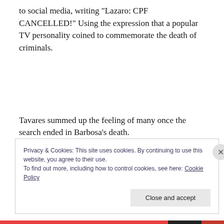to social media, writing “Lazaro: CPF CANCELLED!” Using the expression that a popular TV personality coined to commemorate the death of criminals.
Tavares summed up the feeling of many once the search ended in Barbosa’s death.
“Now people can sleep.”
Privacy & Cookies: This site uses cookies. By continuing to use this website, you agree to their use.
To find out more, including how to control cookies, see here: Cookie Policy